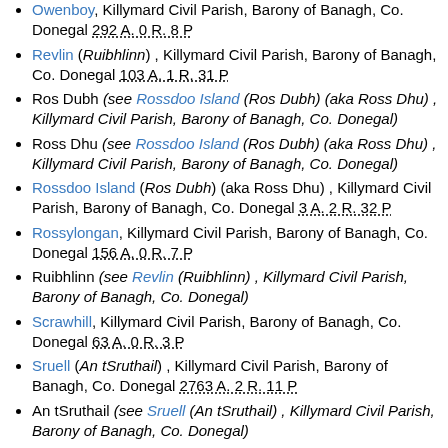Owenboy, Killymard Civil Parish, Barony of Banagh, Co. Donegal 292 A. 0 R. 8 P
Revlin (Ruibhlinn) , Killymard Civil Parish, Barony of Banagh, Co. Donegal 103 A. 1 R. 31 P
Ros Dubh (see Rossdoo Island (Ros Dubh) (aka Ross Dhu) , Killymard Civil Parish, Barony of Banagh, Co. Donegal)
Ross Dhu (see Rossdoo Island (Ros Dubh) (aka Ross Dhu) , Killymard Civil Parish, Barony of Banagh, Co. Donegal)
Rossdoo Island (Ros Dubh) (aka Ross Dhu) , Killymard Civil Parish, Barony of Banagh, Co. Donegal 3 A. 2 R. 32 P
Rossylongan, Killymard Civil Parish, Barony of Banagh, Co. Donegal 156 A. 0 R. 7 P
Ruibhlinn (see Revlin (Ruibhlinn) , Killymard Civil Parish, Barony of Banagh, Co. Donegal)
Scrawhill, Killymard Civil Parish, Barony of Banagh, Co. Donegal 63 A. 0 R. 3 P
Sruell (An tSruthail) , Killymard Civil Parish, Barony of Banagh, Co. Donegal 2763 A. 2 R. 11 P
An tSruthail (see Sruell (An tSruthail) , Killymard Civil Parish, Barony of Banagh, Co. Donegal)
Summerhill (Cnoc an tSamhraidh) , Killymard Civil Parish, Barony of Banagh, Co. Donegal 260 A. 3 R. 7 P